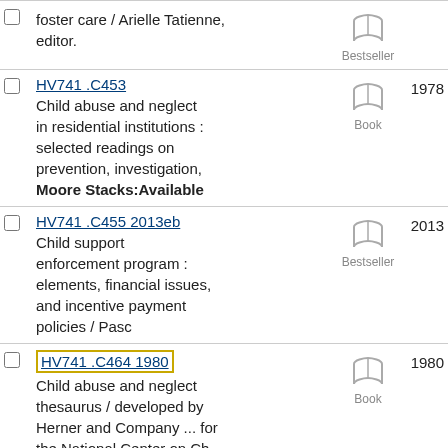foster care / Arielle Tatienne, editor. [Bestseller] Book
HV741 .C453 Child abuse and neglect in residential institutions : selected readings on prevention, investigation, Moore Stacks:Available Book 1978
HV741 .C455 2013eb Child support enforcement program : elements, financial issues, and incentive payment policies / Pasc Bestseller 2013
HV741 .C464 1980 Child abuse and neglect thesaurus / developed by Herner and Company ... for the National Center on Ch Moore Reference Room:Available Book 1980
HV741 .C465 Child abuse : an agenda for action / edited by George Gerbner, Catherine J. Ross, and Edward Zigler. Moore Stacks:Available Book 1980
HV741 .C47